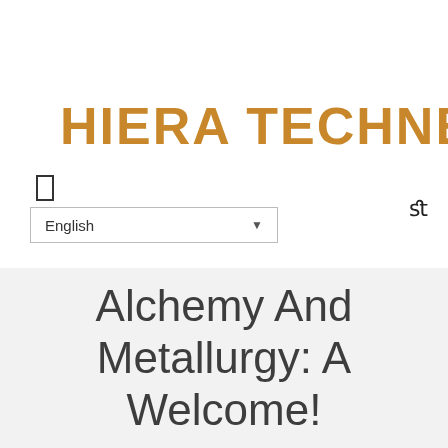HIERA TECHNE
[Figure (other): Menu/hamburger icon — a small outlined rectangle]
[Figure (other): Language selector dropdown showing 'English' with a down arrow]
[Figure (other): Search icon (fi ligature / magnifying glass symbol) in top right]
Alchemy And Metallurgy: A Welcome!